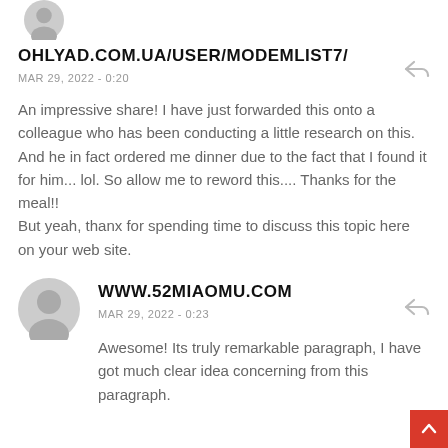[Figure (illustration): Partial gray default user avatar icon at top left]
OHLYAD.COM.UA/USER/MODEMLIST7/
MAR 29, 2022 - 0:20
An impressive share! I have just forwarded this onto a colleague who has been conducting a little research on this. And he in fact ordered me dinner due to the fact that I found it for him... lol. So allow me to reword this.... Thanks for the meal!! But yeah, thanx for spending time to discuss this topic here on your web site.
[Figure (illustration): Gray default user avatar icon]
WWW.52MIAOMU.COM
MAR 29, 2022 - 0:23
Awesome! Its truly remarkable paragraph, I have got much clear idea concerning from this paragraph.